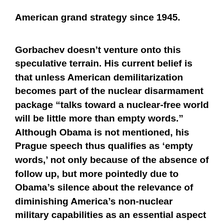American grand strategy since 1945.
Gorbachev doesn’t venture onto this speculative terrain. His current belief is that unless American demilitarization becomes part of the nuclear disarmament package “talks toward a nuclear-free world will be little more than empty words.” Although Obama is not mentioned, his Prague speech thus qualifies as ‘empty words,’ not only because of the absence of follow up, but more pointedly due to Obama’s silence about the relevance of diminishing America’s non-nuclear military capabilities as an essential aspect of making credible and beneficial the endorsement of a world without nuclear weapons.